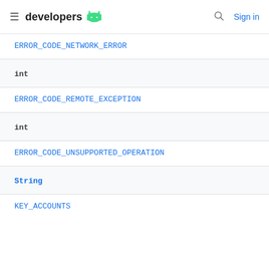developers  Sign in
ERROR_CODE_NETWORK_ERROR
int
ERROR_CODE_REMOTE_EXCEPTION
int
ERROR_CODE_UNSUPPORTED_OPERATION
String
KEY_ACCOUNTS